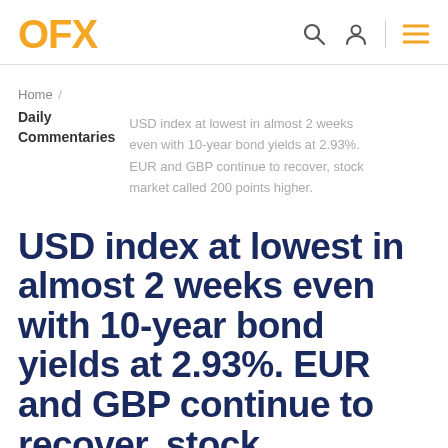OFX
Home / Daily Commentaries / USD index at lowest in almost 2 weeks even with 10-year bond yields at 2.93%. EUR and GBP continue to recover, stock market called 200 points higher.
USD index at lowest in almost 2 weeks even with 10-year bond yields at 2.93%. EUR and GBP continue to recover, stock